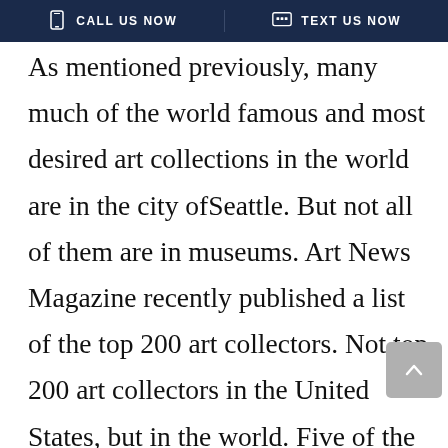CALL US NOW | TEXT US NOW
As mentioned previously, many much of the world famous and most desired art collections in the world are in the city ofSeattle. But not all of them are in museums. Art News Magazine recently published a list of the top 200 art collectors. Not top 200 art collectors in the United States, but in the world. Five of the top global art collectors live in Seattle.

Here is a list of the collectors fromthe city of Seattle that made the list: